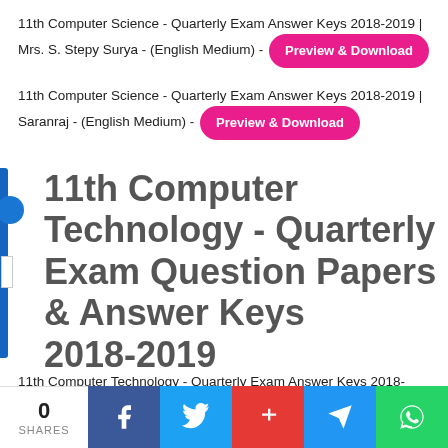11th Computer Science - Quarterly Exam Answer Keys 2018-2019 | Mrs. S. Stepy Surya - (English Medium) - [Preview & Download]
11th Computer Science - Quarterly Exam Answer Keys 2018-2019 | Saranraj - (English Medium) - [Preview & Download]
11th Computer Technology - Quarterly Exam Question Papers & Answer Keys 2018-2019
11th Computer Technology - Quarterly Exam Answer Keys 2018-2019 | Mrs. G. Shanthi - (Tamil Medium) - [Preview & Download]
0 SHARES | Facebook | Twitter | Google+ | Telegram | WhatsApp